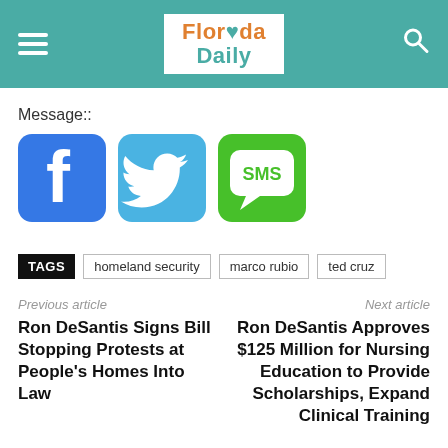Florida Daily
Message::
[Figure (illustration): Facebook, Twitter, and SMS social sharing icons]
TAGS   homeland security   marco rubio   ted cruz
Previous article
Ron DeSantis Signs Bill Stopping Protests at People's Homes Into Law
Next article
Ron DeSantis Approves $125 Million for Nursing Education to Provide Scholarships, Expand Clinical Training